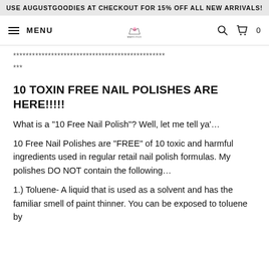USE AUGUSTGOODIES AT CHECKOUT FOR 15% OFF ALL NEW ARRIVALS!
MENU [logo] [search] [cart] 0
************************************************
***
10 TOXIN FREE NAIL POLISHES ARE HERE!!!!!
What is a "10 Free Nail Polish"? Well, let me tell ya'…
10 Free Nail Polishes are "FREE" of 10 toxic and harmful ingredients used in regular retail nail polish formulas. My polishes DO NOT contain the following…
1.) Toluene- A liquid that is used as a solvent and has the familiar smell of paint thinner. You can be exposed to toluene by